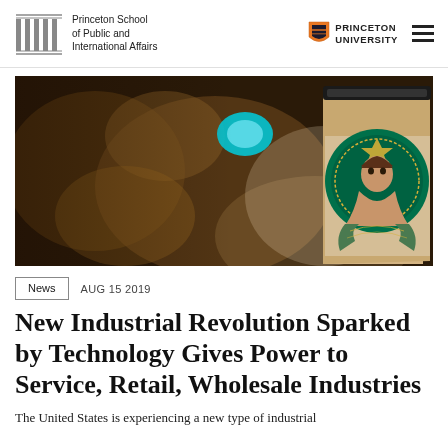Princeton School of Public and International Affairs | Princeton University
[Figure (photo): Dark bokeh background with blurred golden/amber lights and a Starbucks coffee cup on the right side showing the Starbucks siren logo in teal/green on a kraft paper cup]
News   AUG 15 2019
New Industrial Revolution Sparked by Technology Gives Power to Service, Retail, Wholesale Industries
The United States is experiencing a new type of industrial